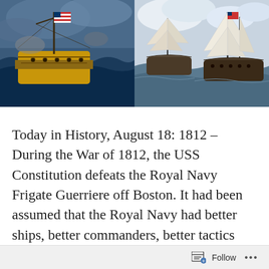[Figure (illustration): Two naval battle paintings side by side. Left image shows a dramatic painting of a sailing ship in battle with an American flag visible, with turbulent seas and damaged rigging. Right image shows a more classical illustration of two sailing frigates in battle on rough seas.]
Today in History, August 18: 1812 – During the War of 1812, the USS Constitution defeats the Royal Navy Frigate Guerriere off Boston. It had been assumed that the Royal Navy had better ships, better commanders, better tactics than the young American Navy. On this date, the British sailors said their shot bounced off of
Follow ...